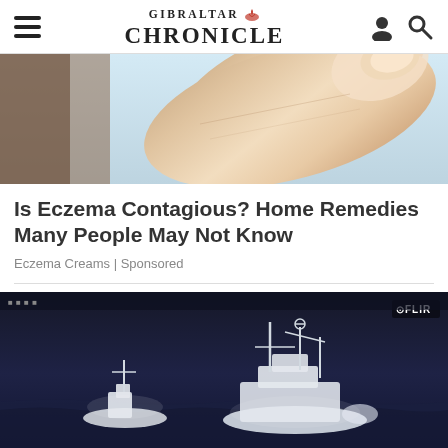GIBRALTAR CHRONICLE
[Figure (photo): Close-up photo of a human finger/hand with skin detail, light background]
Is Eczema Contagious? Home Remedies Many People May Not Know
Eczema Creams | Sponsored
[Figure (photo): Thermal/FLIR camera footage showing two ships at sea at night, dark blue monochromatic image with FLIR watermark in top right corner]